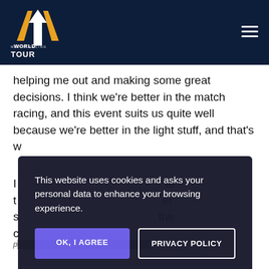[Figure (logo): World Match Racing Tour logo with stylized W/anchor shape in gold and white on dark navy background, with text WORLD MATCH RACING TOUR]
helping me out and making some great decisions. I think we're better in the match racing, and this event suits us quite well because we're better in the light stuff, and that's w[hat's been happening].
I [text partially obscured by overlay] to t[ext obscured] er s[ext obscured] the c[ext obscured]
p[artially visible text at bottom]
This website uses cookies and asks your personal data to enhance your browsing experience.
OK, I AGREE
PRIVACY POLICY